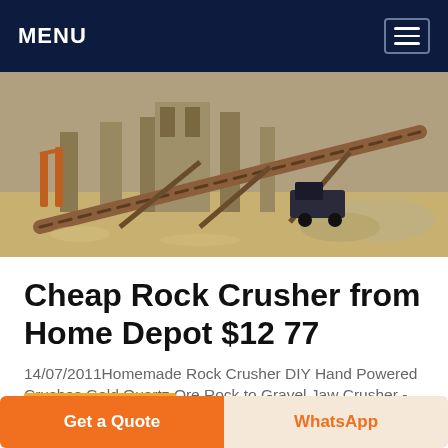MENU
[Figure (photo): Outdoor industrial mining/rock crushing facility with conveyor belt, large steel structures and crushed rock piles on sandy ground. A LIVE CHAT bubble appears in the upper right corner of the image.]
Cheap Rock Crusher from Home Depot $12 77
14/07/2011Homemade Rock Crusher DIY Hand Powered Crushes Gold Quartz Ore Rock to Gravel Jaw Crusher - Duration: 4:23 DIY Gold Mining 8 589 views
Get a Quote
WhatsApp